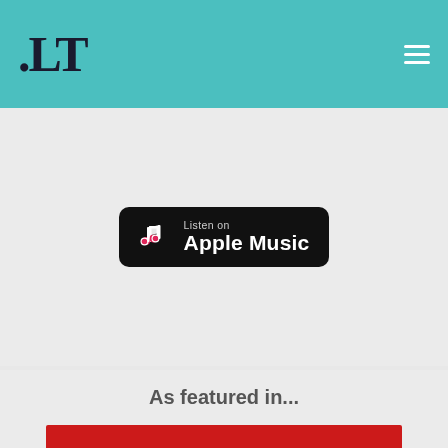[Figure (logo): .LT logo on teal header bar with hamburger menu icon]
[Figure (logo): Listen on Apple Music badge - black rounded rectangle with music note icon]
As featured in...
[Figure (logo): The Lawyer magazine logo - white serif text on red background]